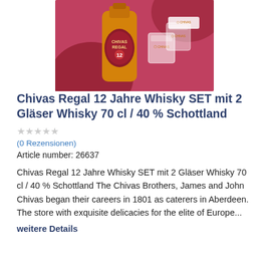[Figure (photo): Product photo of Chivas Regal 12 Jahre Whisky bottle with two branded crystal glasses on a red/pink background]
Chivas Regal 12 Jahre Whisky SET mit 2 Gläser Whisky 70 cl / 40 % Schottland
(0 Rezensionen)
Article number: 26637
Chivas Regal 12 Jahre Whisky SET mit 2 Gläser Whisky 70 cl / 40 % Schottland The Chivas Brothers, James and John Chivas began their careers in 1801 as caterers in Aberdeen. The store with exquisite delicacies for the elite of Europe...
weitere Details